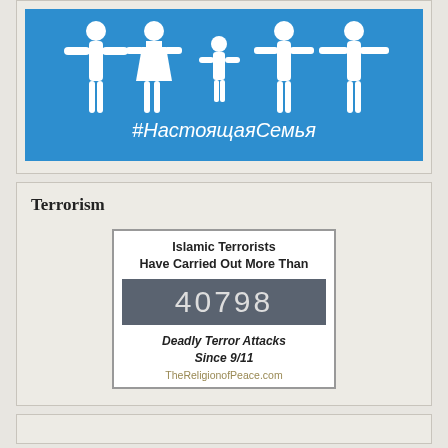[Figure (illustration): Blue image with white silhouettes of a family (adults and children) with text '#НастоящаяСемья' (hashtag RealFamily in Russian) in white letters below]
Terrorism
[Figure (infographic): Counter widget showing 'Islamic Terrorists Have Carried Out More Than 40798 Deadly Terror Attacks Since 9/11 TheReligionofPeace.com']